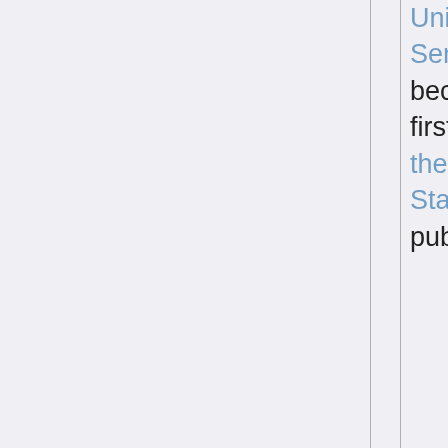United States Senate, becoming the first First Lady of the United States to win public